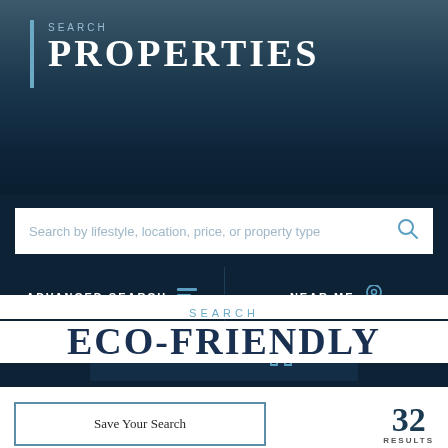[Figure (screenshot): Hero section with water/lake background image showing 'SEARCH PROPERTIES' title with blue vertical bar accent, dark navy overlay]
SEARCH PROPERTIES
Search by lifestyle, location, price, or property type
ADVANCED SEARCH
NEAR ME
SOLD SEARCH
SEARCH ECO-FRIENDLY
Save Your Search
32 RESULTS